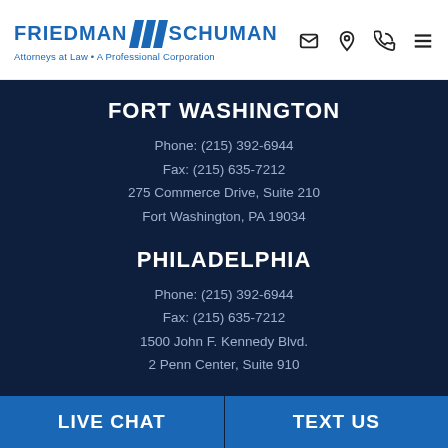[Figure (logo): Friedman Schuman law firm logo with blue diagonal bars, text reading FRIEDMAN SCHUMAN Attorneys at Law • A Professional Corporation, and navigation icons (email, location, phone, menu)]
FORT WASHINGTON
Phone: (215) 392-6944
Fax: (215) 635-7212
275 Commerce Drive, Suite 210
Fort Washington, PA 19034
PHILADELPHIA
Phone: (215) 392-6944
Fax: (215) 635-7212
1500 John F. Kennedy Blvd.
2 Penn Center, Suite 910
LIVE CHAT
TEXT US